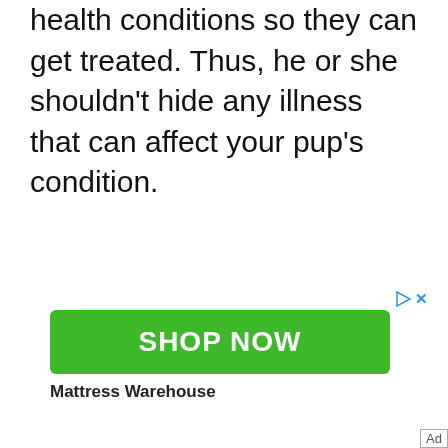health conditions so they can get treated. Thus, he or she shouldn’t hide any illness that can affect your pup’s condition.
[Figure (other): Advertisement banner with green 'SHOP NOW' button and 'Mattress Warehouse' advertiser label, with ad icons and 'Ad' label]
Mattress Warehouse